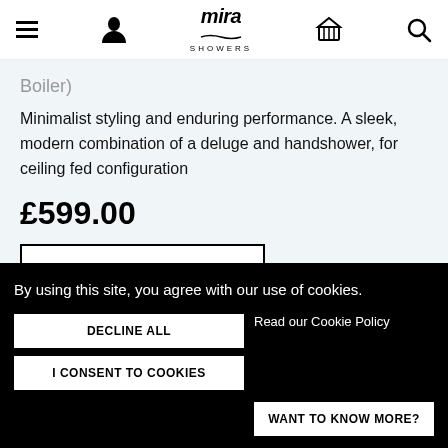Mira Showers
Boiler)
Minimalist styling and enduring performance. A sleek, modern combination of a deluge and handshower, for ceiling fed configuration
£599.00
By using this site, you agree with our use of cookies.
DECLINE ALL
Read our Cookie Policy
I CONSENT TO COOKIES
WANT TO KNOW MORE?